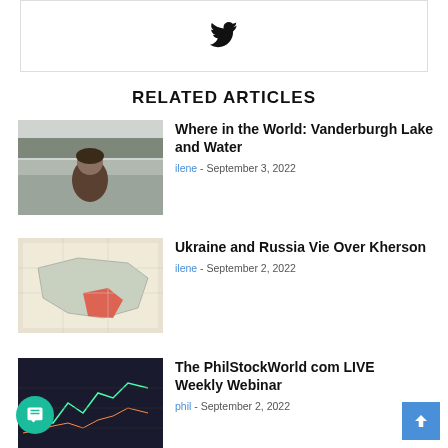[Figure (logo): Twitter bird icon inside a bordered box]
RELATED ARTICLES
[Figure (photo): A man with long hair in front of a misty lake and forest]
Where in the World: Vanderburgh Lake and Water
ilene - September 3, 2022
[Figure (map): Map of Ukraine showing Russia-occupied Kherson region highlighted in red]
Ukraine and Russia Vie Over Kherson
ilene - September 2, 2022
[Figure (screenshot): Stock chart screenshot for PhilStockWorld webinar]
The PhilStockWorld com LIVE Weekly Webinar
phil - September 2, 2022